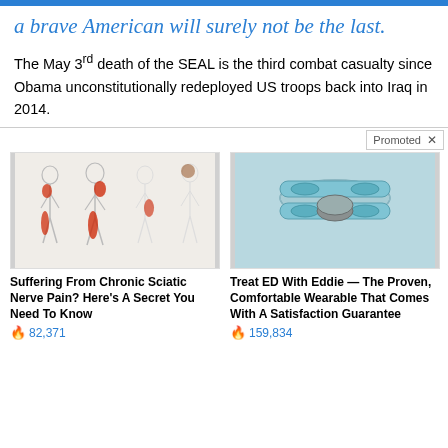a brave American will surely not be the last.
The May 3rd death of the SEAL is the third combat casualty since Obama unconstitutionally redeployed US troops back into Iraq in 2014.
[Figure (illustration): Advertisement image showing human body silhouettes with red highlighted sciatic nerve pain areas]
Suffering From Chronic Sciatic Nerve Pain? Here's A Secret You Need To Know
🔥 82,371
[Figure (photo): Advertisement photo showing light blue wearable device (Eddie) for treating ED]
Treat ED With Eddie — The Proven, Comfortable Wearable That Comes With A Satisfaction Guarantee
🔥 159,834